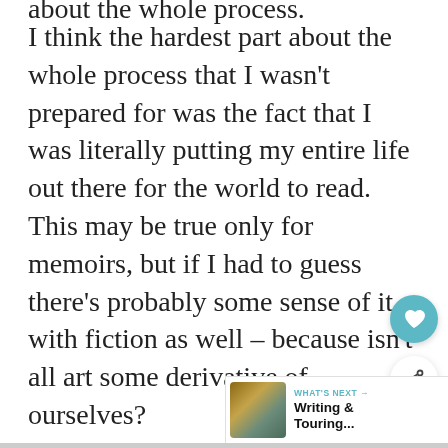I think the hardest part about the whole process that I wasn't prepared for was the fact that I was literally putting my entire life out there for the world to read. This may be true only for memoirs, but if I had to guess there's probably some sense of it with fiction as well – because isn't all art some derivative of ourselves?
[Figure (other): Teal circular heart/favourite button icon]
[Figure (other): White circular share button icon with share symbol]
[Figure (other): What's Next panel with thumbnail image and text 'Writing & Touring...']